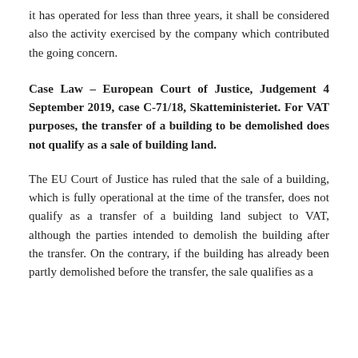it has operated for less than three years, it shall be considered also the activity exercised by the company which contributed the going concern.
Case Law – European Court of Justice, Judgement 4 September 2019, case C-71/18, Skatteministeriet. For VAT purposes, the transfer of a building to be demolished does not qualify as a sale of building land.
The EU Court of Justice has ruled that the sale of a building, which is fully operational at the time of the transfer, does not qualify as a transfer of a building land subject to VAT, although the parties intended to demolish the building after the transfer. On the contrary, if the building has already been partly demolished before the transfer, the sale qualifies as a